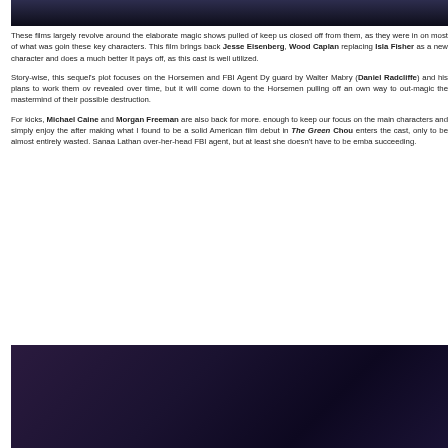[Figure (photo): Top portion of a dark scene from a film, showing figures in a dark blue environment]
These films largely revolve around the elaborate magic shows pulled of... keep us closed off from them, as they were in on most of what was goin... these key characters. This film brings back Jesse Eisenberg, Wood... Caplan replacing Isla Fisher as a new character and does a much better... It pays off, as this cast is well utilized.
Story-wise, this sequel's plot focuses on the Horsemen and FBI Agent Dy... guard by Walter Mabry (Daniel Radcliffe) and his plans to work them ov... revealed over time, but it will come down to the Horsemen pulling off an... own way to out-magic the mastermind of their possible destruction.
For kicks, Michael Caine and Morgan Freeman are also back for more... enough to keep our focus on the main characters and simply enjoy the... after making what I found to be a solid American film debut in The Green... Chou enters the cast, only to be almost entirely wasted. Sanaa Lathan... over-her-head FBI agent, but at least she doesn't have to be emba... succeeding.
[Figure (photo): Bottom portion of a film scene showing figures in a dark purple/blue stage environment]